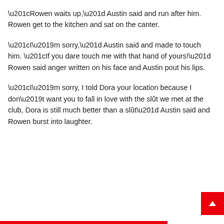“Rowen waits up,” Austin said and run after him. Rowen get to the kitchen and sat on the canter.
“I’m sorry,” Austin said and made to touch him. “If you dare touch me with that hand of yours!” Rowen said anger written on his face and Austin pout his lips.
“I’m sorry, I told Dora your location because I don’t want you to fall in love with the slût we met at the club, Dora is still much better than a slût” Austin said and Rowen burst into laughter.